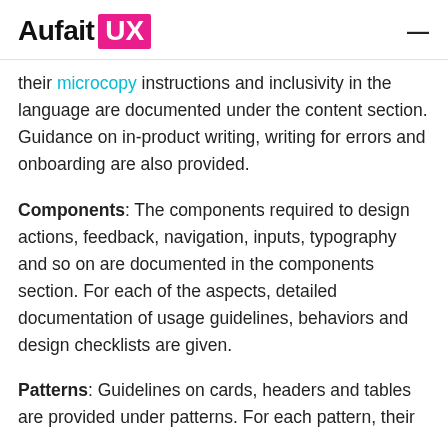Aufait UX
their microcopy instructions and inclusivity in the language are documented under the content section. Guidance on in-product writing, writing for errors and onboarding are also provided.
Components: The components required to design actions, feedback, navigation, inputs, typography and so on are documented in the components section. For each of the aspects, detailed documentation of usage guidelines, behaviors and design checklists are given.
Patterns: Guidelines on cards, headers and tables are provided under patterns. For each pattern, their